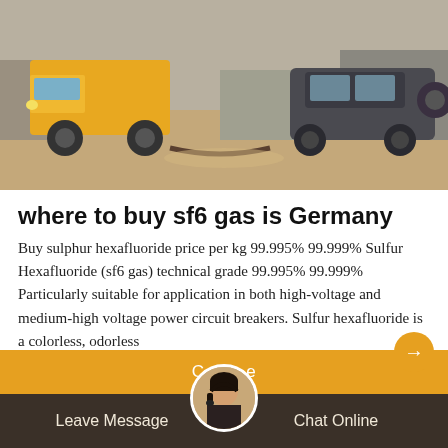[Figure (photo): Outdoor scene with a yellow truck on the left and a dark SUV on the right, on a dusty dirt road with buildings in the background.]
where to buy sf6 gas is Germany
Buy sulphur hexafluoride price per kg 99.995% 99.999% Sulfur Hexafluoride (sf6 gas) technical grade 99.995% 99.999% Particularly suitable for application in both high-voltage and medium-high voltage power circuit breakers. Sulfur hexafluoride is a colorless, odorless
Leave Message
Chat Online